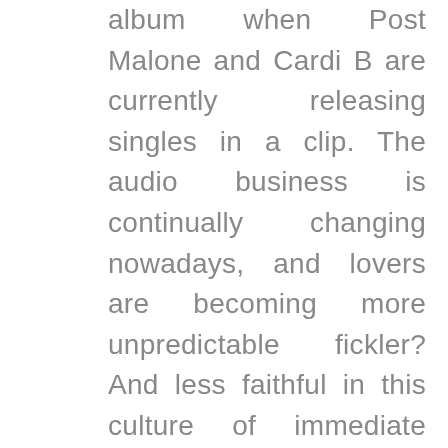album when Post Malone and Cardi B are currently releasing singles in a clip. The audio business is continually changing nowadays, and lovers are becoming more unpredictable fickler? And less faithful in this culture of immediate gratification. Ability to talk about your score with family and friends together with much more, Twitter and Facebook! As it was, the deposit cash was being used by some of the dominoqq poker players who had been supporting Full Tilt for their wants and requirements. Positions and it has to combine a brilliant poker forum that will meet their match.
Due to the absence of an appropriate approach, many gamers don't succeed to